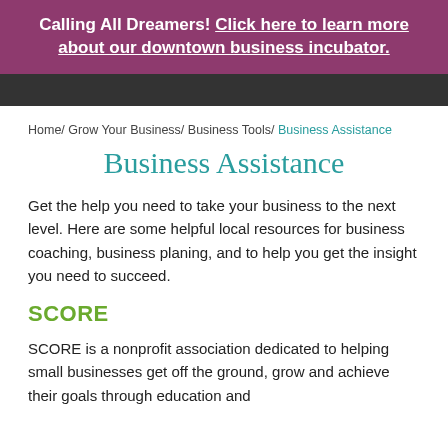Calling All Dreamers! Click here to learn more about our downtown business incubator.
Home/ Grow Your Business/ Business Tools/ Business Assistance
Business Assistance
Get the help you need to take your business to the next level. Here are some helpful local resources for business coaching, business planing, and to help you get the insight you need to succeed.
SCORE
SCORE is a nonprofit association dedicated to helping small businesses get off the ground, grow and achieve their goals through education and mentorship. Their network of 11,000 volunteers and...